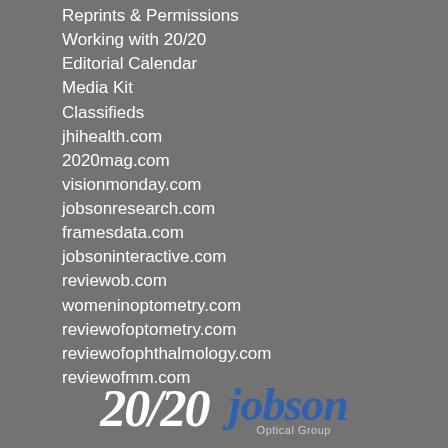Reprints & Permissions
Working with 20/20
Editorial Calendar
Media Kit
Classifieds
jhihealth.com
2020mag.com
visionmonday.com
jobsonresearch.com
framesdata.com
jobsoninteractive.com
reviewob.com
womeninoptometry.com
reviewofoptometry.com
reviewofophthalmology.com
reviewofmm.com
[Figure (logo): 20/20 magazine logo in white italic text and Jobson Optical Group logo in blue italic text]